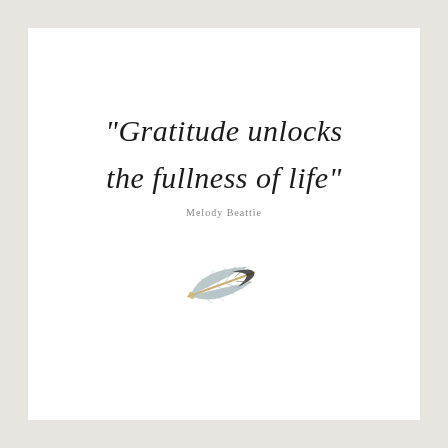“Gratitude unlocks the fullness of life”
Melody Beattie
[Figure (illustration): Watercolor illustration of a single feather, grey-blue with a dark tip and golden-tan quill, oriented diagonally]